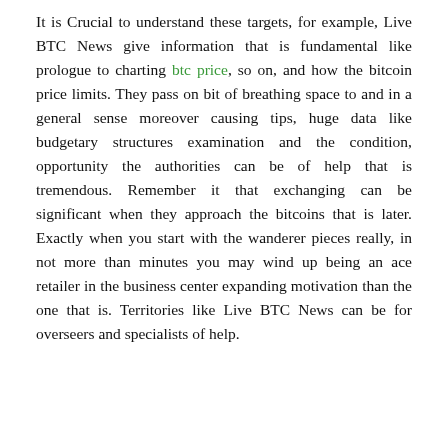It is Crucial to understand these targets, for example, Live BTC News give information that is fundamental like prologue to charting btc price, so on, and how the bitcoin price limits. They pass on bit of breathing space to and in a general sense moreover causing tips, huge data like budgetary structures examination and the condition, opportunity the authorities can be of help that is tremendous. Remember it that exchanging can be significant when they approach the bitcoins that is later. Exactly when you start with the wanderer pieces really, in not more than minutes you may wind up being an ace retailer in the business center expanding motivation than the one that is. Territories like Live BTC News can be for overseers and specialists of help.